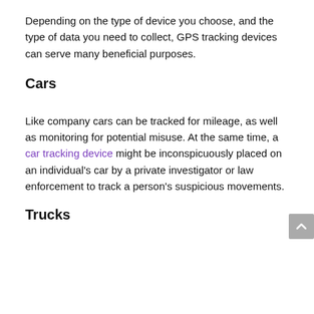Depending on the type of device you choose, and the type of data you need to collect, GPS tracking devices can serve many beneficial purposes.
Cars
Like company cars can be tracked for mileage, as well as monitoring for potential misuse. At the same time, a car tracking device might be inconspicuously placed on an individual's car by a private investigator or law enforcement to track a person's suspicious movements.
Trucks